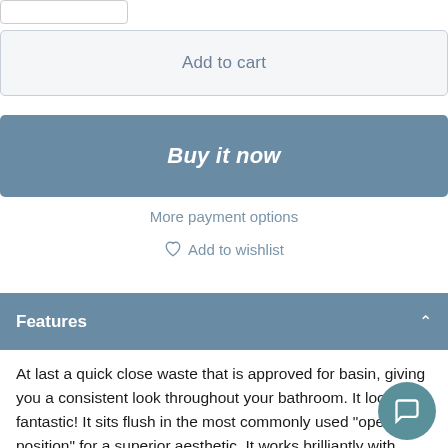Add to cart
Buy it now
More payment options
Add to wishlist
Features
At last a quick close waste that is approved for basin, giving you a consistent look throughout your bathroom. It looks fantastic! It sits flush in the most commonly used "open position" for a superior aesthetic. It works brilliantly with super smooth opening and closing with easy to remove cartridge for cleaning and drain